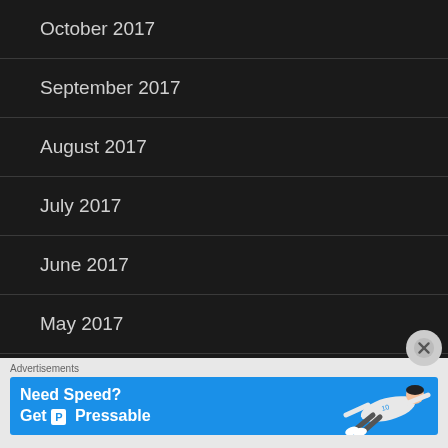October 2017
September 2017
August 2017
July 2017
June 2017
May 2017
April 2017
March 2017
February 2017
[Figure (illustration): Advertisement banner: 'Need Speed? Get Pressable' with a soccer player diving, on a blue background]